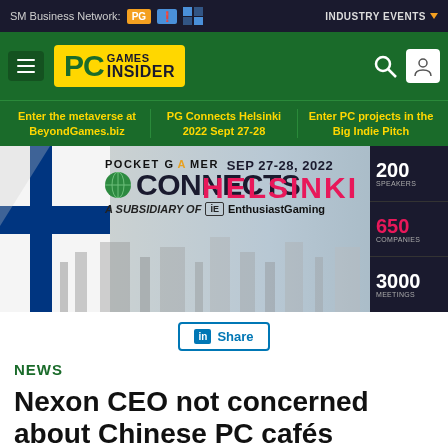SM Business Network: PG [logo] [logo]  INDUSTRY EVENTS
[Figure (logo): PC Games Insider logo on green background with hamburger menu, search and user icons]
Enter the metaverse at BeyondGames.biz | PG Connects Helsinki 2022 Sept 27-28 | Enter PC projects in the Big Indie Pitch
[Figure (infographic): Pocket Gamer Connects Helsinki banner ad. SEP 27-28, 2022. A subsidiary of Enthusiast Gaming. 200 SPEAKERS, 650 COMPANIES, 3000 MEETINGS.]
Share
NEWS
Nexon CEO not concerned about Chinese PC cafés